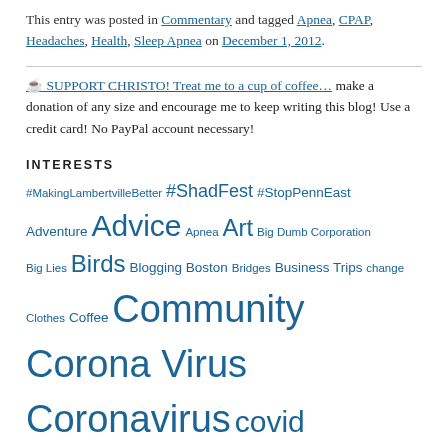This entry was posted in Commentary and tagged Apnea, CPAP, Headaches, Health, Sleep Apnea on December 1, 2012.
☕ SUPPORT CHRISTO! Treat me to a cup of coffee… make a donation of any size and encourage me to keep writing this blog! Use a credit card! No PayPal account necessary!
INTERESTS
#MakingLambertvilleBetter #ShadFest #StopPennEast Adventure Advice Apnea Art Big Dumb Corporation Big Lies Birds Blogging Boston Bridges Business Trips change Clothes Coffee Community Corona Virus Coronavirus covid COVID-19 CPAP D&R Canal State Park Dating